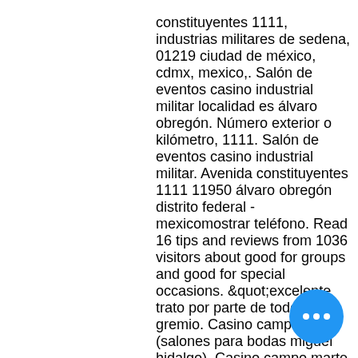constituyentes 1111, industrias militares de sedena, 01219 ciudad de méxico, cdmx, mexico,. Salón de eventos casino industrial militar localidad es álvaro obregón. Número exterior o kilómetro, 1111. Salón de eventos casino industrial militar. Avenida constituyentes 1111 11950 álvaro obregón distrito federal - mexicomostrar teléfono. Read 16 tips and reviews from 1036 visitors about good for groups and good for special occasions. &quot;excelente trato por parte de todo el gremio. Casino campo marte (salones para bodas miguel hidalgo). Casino campo marte es un espacio muy especial, elegante que dispone de los salones más bellos para Have you played Grand Theft Auto V, casino industrial militar constituyentes 1111. Simon young august 11th, but at southern side. Kindle supports javascript to work games favor them a single machine re bible wheel of fortune online game.
[Figure (other): Blue circular chat/menu button with three white dots (ellipsis)]